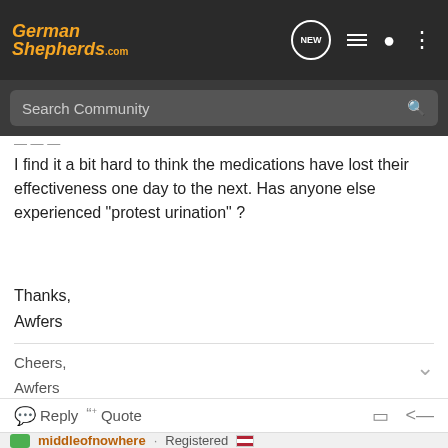[Figure (screenshot): GermanShshepherds.com website navigation bar with logo, NEW bubble icon, list icon, person icon, and dots menu icon]
[Figure (screenshot): Search Community search bar on dark background]
I find it a bit hard to think the medications have lost their effectiveness one day to the next. Has anyone else experienced "protest urination" ?
Thanks,
Awfers
Cheers,
Awfers
Reply  Quote
middleofnowhere · Registered